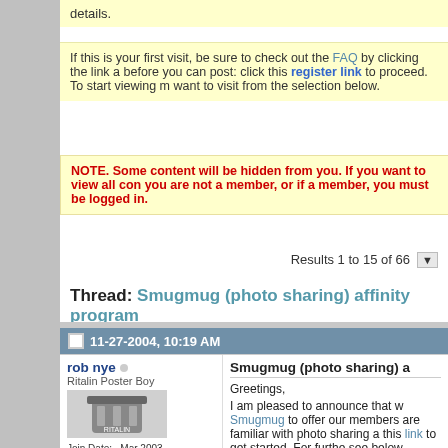details.
If this is your first visit, be sure to check out the FAQ by clicking the link a before you can post: click this register link to proceed. To start viewing m want to visit from the selection below.
NOTE. Some content will be hidden from you. If you want to view all con you are not a member, or if a member, you must be logged in.
Results 1 to 15 of 66
Thread: Smugmug (photo sharing) affinity program
11-27-2004, 10:19 AM
rob nye
Ritalin Poster Boy
Join Date: Mar 2003
Location: Bristol, Rhode Island
Posts: 2,959
Smugmug (photo sharing) a
Greetings,

I am pleased to announce that w Smugmug to offer our members are familiar with photo sharing a this link to get started. For furthe see below.

As you have noticed here in the ility to include int that